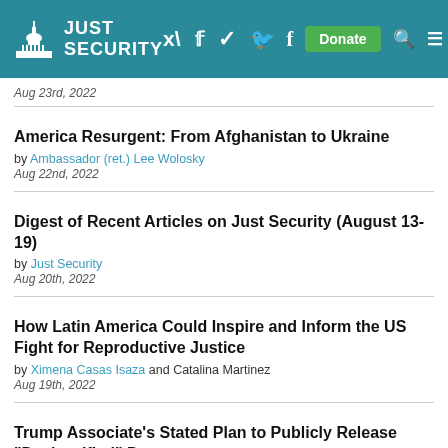JUST SECURITY
Aug 23rd, 2022
America Resurgent: From Afghanistan to Ukraine
by Ambassador (ret.) Lee Wolosky
Aug 22nd, 2022
Digest of Recent Articles on Just Security (August 13-19)
by Just Security
Aug 20th, 2022
How Latin America Could Inspire and Inform the US Fight for Reproductive Justice
by Ximena Casas Isaza and Catalina Martinez
Aug 19th, 2022
Trump Associate's Stated Plan to Publicly Release "Declassified" Documents